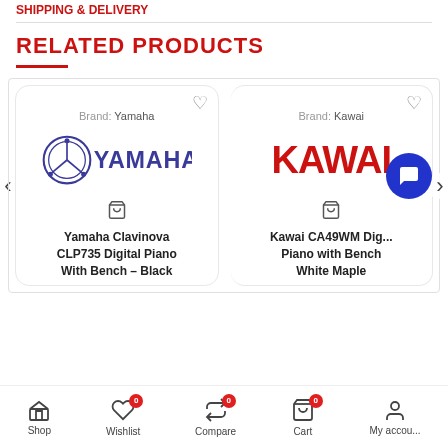SHIPPING & DELIVERY
RELATED PRODUCTS
[Figure (logo): Yamaha brand logo with circular emblem and YAMAHA text in purple/dark blue]
Brand: Yamaha
[Figure (logo): KAWAI brand logo in bold red text]
Brand: Kawai
Yamaha Clavinova CLP735 Digital Piano With Bench – Black
Kawai CA49WM Digital Piano with Bench White Maple
Shop   Wishlist 0   Compare 0   Cart 0   My accou...